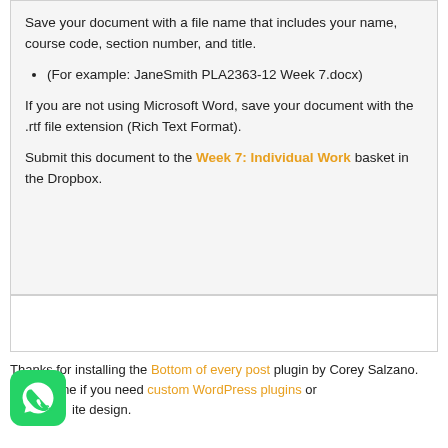Save your document with a file name that includes your name, course code, section number, and title.
(For example: JaneSmith PLA2363-12 Week 7.docx)
If you are not using Microsoft Word, save your document with the .rtf file extension (Rich Text Format).
Submit this document to the Week 7: Individual Work basket in the Dropbox.
Thanks for installing the Bottom of every post plugin by Corey Salzano. Contact me if you need custom WordPress plugins or ite design.